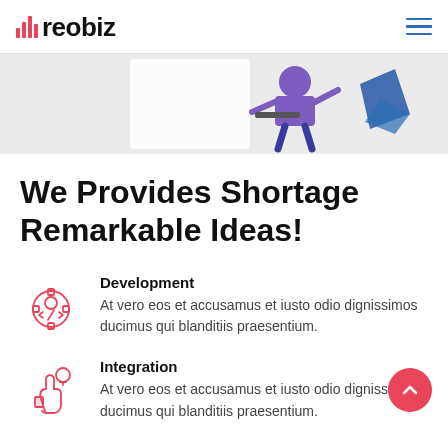reobiz
[Figure (illustration): Partial hero banner image showing a purple illustrated figure at a desk/workspace, with a blue geometric shape to the right, on a light gray background.]
We Provides Shortage Remarkable Ideas!
Development
At vero eos et accusamus et iusto odio dignissimos ducimus qui blanditiis praesentium.
Integration
At vero eos et accusamus et iusto odio dignissimos ducimus qui blanditiis praesentium.